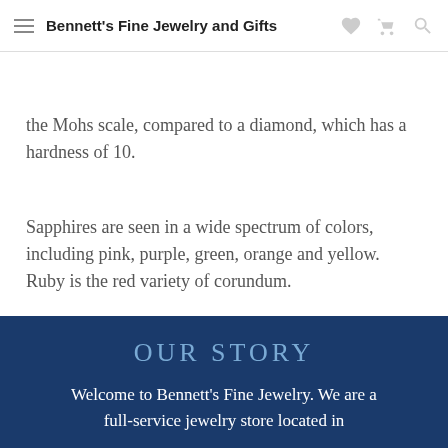Bennett's Fine Jewelry and Gifts
the Mohs scale, compared to a diamond, which has a hardness of 10.
Sapphires are seen in a wide spectrum of colors, including pink, purple, green, orange and yellow. Ruby is the red variety of corundum.
Credit: Images by Chip Clark/Smithsonian.
◀ Previous ( View All Posts ) Next ▶
OUR STORY
Welcome to Bennett's Fine Jewelry. We are a full-service jewelry store located in